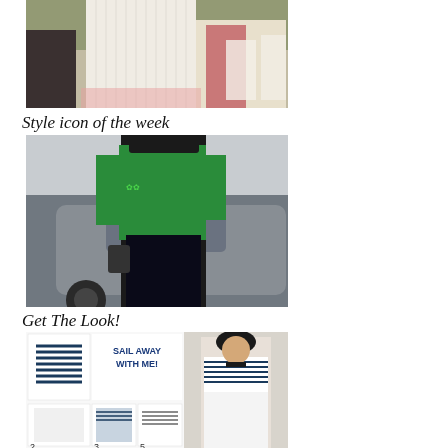[Figure (photo): Street style fashion photo of a woman in a white pleated dress at an outdoor event with other attendees and white chairs in background]
Style icon of the week
[Figure (photo): Street style fashion photo of a woman wearing a green bomber jacket, black cap, and dark trousers, standing next to a grey car on a city street]
Get The Look!
[Figure (infographic): Fashion infographic titled 'SAIL AWAY WITH ME!' showing nautical-themed clothing items including a striped top, white skirt, scarf, and striped crop top, with a model wearing a striped top and white skirt with beret]